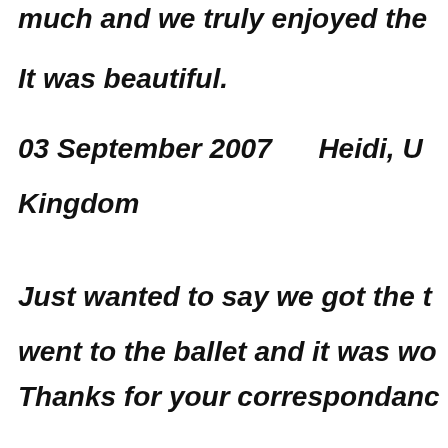much and we truly enjoyed the
It was beautiful.
03 September 2007        Heidi, United
Kingdom
Just wanted to say we got the ti
went to the ballet and it was wo
Thanks for your correspondance
Regards
27 August 2007        Lisa, Ireland